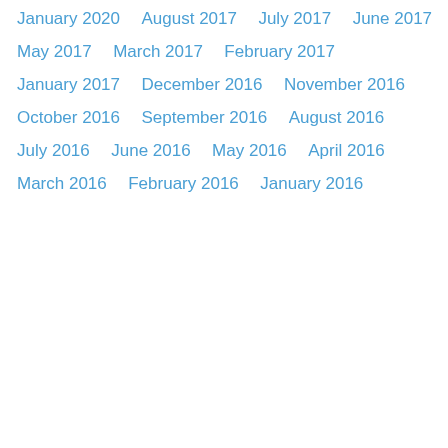January 2020
August 2017
July 2017
June 2017
May 2017
March 2017
February 2017
January 2017
December 2016
November 2016
October 2016
September 2016
August 2016
July 2016
June 2016
May 2016
April 2016
March 2016
February 2016
January 2016